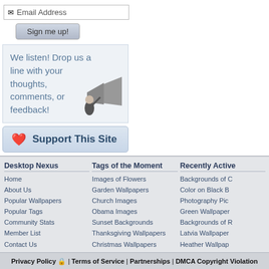[Figure (screenshot): Email address input box with envelope icon and text 'Email Address']
[Figure (screenshot): 'Sign me up!' button with blue-gray gradient background]
We listen! Drop us a line with your thoughts, comments, or feedback!
[Figure (photo): Black and white illustration of a man with a megaphone]
[Figure (screenshot): Support This Site button with heart icon]
Desktop Nexus
Home
About Us
Popular Wallpapers
Popular Tags
Community Stats
Member List
Contact Us
Tags of the Moment
Images of Flowers
Garden Wallpapers
Church Images
Obama Images
Sunset Backgrounds
Thanksgiving Wallpapers
Christmas Wallpapers
Recently Active
Backgrounds of C
Color on Black B
Photography Pic
Green Wallpaper
Backgrounds of R
Latvia Wallpaper
Heather Wallpap
Privacy Policy | Terms of Service | Partnerships | DMCA Copyright Violation
© Desktop Nexus - All rights reserved.
Page rendered with 6 queries (and 0 cached) in 0.086 seconds from server 35.